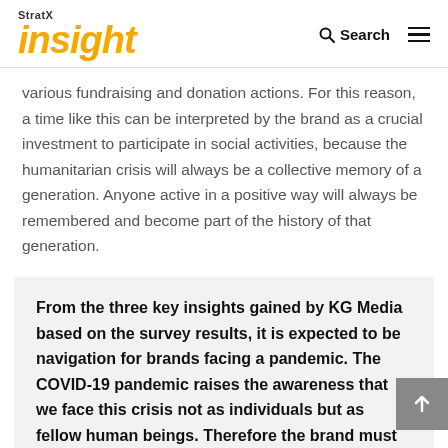StratX insight
various fundraising and donation actions. For this reason, a time like this can be interpreted by the brand as a crucial investment to participate in social activities, because the humanitarian crisis will always be a collective memory of a generation. Anyone active in a positive way will always be remembered and become part of the history of that generation.
From the three key insights gained by KG Media based on the survey results, it is expected to be navigation for brands facing a pandemic. The COVID-19 pandemic raises the awareness that we face this crisis not as individuals but as fellow human beings. Therefore the brand must